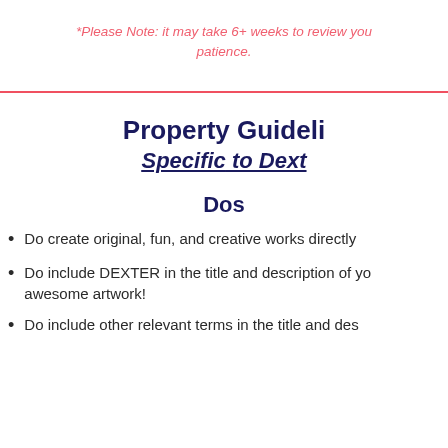*Please Note: it may take 6+ weeks to review you patience.
Property Guideli
Specific to Dext
Dos
Do create original, fun, and creative works directly
Do include DEXTER in the title and description of your awesome artwork!
Do include other relevant terms in the title and des